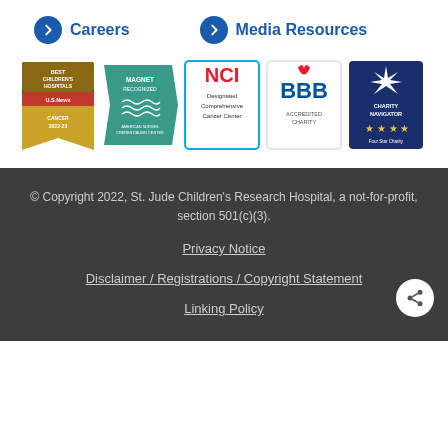→ Careers
→ Media Resources
[Figure (logo): Best Children's Hospitals US News Cancer 2022-23 badge]
[Figure (logo): Magnet Recognized American Nurses Credentialing Center badge]
[Figure (logo): NCI Designated Comprehensive Cancer Center badge]
[Figure (logo): BBB Accredited Charity badge]
[Figure (logo): Charity Navigator Four Star Charity badge]
© Copyright 2022, St. Jude Children's Research Hospital, a not-for-profit, section 501(c)(3).
Privacy Notice
Disclaimer / Registrations / Copyright Statement
Linking Policy